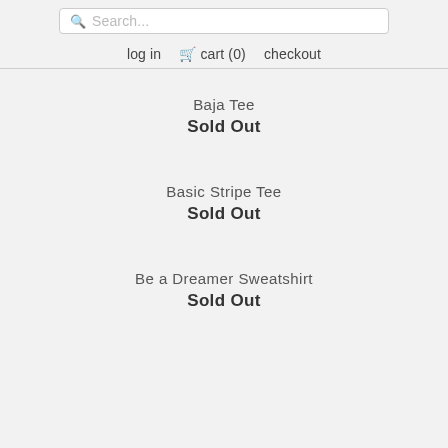Search... | log in | cart (0) | checkout
Baja Tee
Sold Out
Basic Stripe Tee
Sold Out
Be a Dreamer Sweatshirt
Sold Out